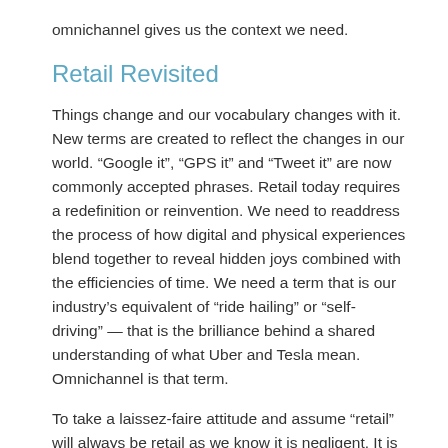omnichannel gives us the context we need.
Retail Revisited
Things change and our vocabulary changes with it. New terms are created to reflect the changes in our world. “Google it”, “GPS it” and “Tweet it” are now commonly accepted phrases. Retail today requires a redefinition or reinvention. We need to readdress the process of how digital and physical experiences blend together to reveal hidden joys combined with the efficiencies of time. We need a term that is our industry’s equivalent of “ride hailing” or “self-driving” — that is the brilliance behind a shared understanding of what Uber and Tesla mean. Omnichannel is that term.
To take a laissez-faire attitude and assume “retail” will always be retail as we know it is negligent. It is too limited. It also assumes that the handlebars of the